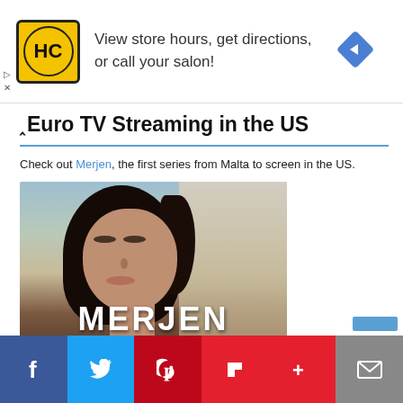[Figure (other): Advertisement banner for HC salon: yellow square logo with HC letters, text 'View store hours, get directions, or call your salon!', blue diamond arrow icon on right. Small play and X controls on left.]
Euro TV Streaming in the US
Check out Merjen, the first series from Malta to screen in the US.
[Figure (photo): Promotional image for Merjen Season 1. Shows a dark-haired woman with serious expression. Large white text 'MERJEN' at bottom, red banner underneath reading 'SEASON 1'.]
[Figure (other): Social sharing bar at bottom with Facebook (blue), Twitter (light blue), Pinterest (red), Flipboard (red), More (red), and Mail (gray) buttons.]